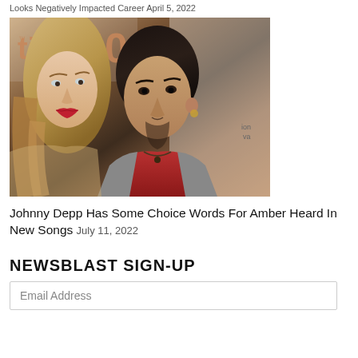Looks Negatively Impacted Career April 5, 2022
[Figure (photo): Photo of a blonde woman and Johnny Depp at a TIFF 40 event, she wearing red lipstick, he in a red shirt and grey jacket with jewelry]
Johnny Depp Has Some Choice Words For Amber Heard In New Songs July 11, 2022
NEWSBLAST SIGN-UP
Email Address